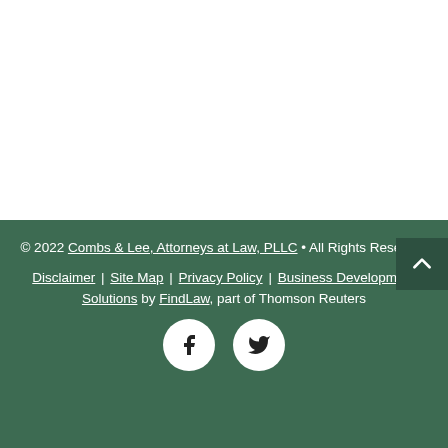© 2022 Combs & Lee, Attorneys at Law, PLLC • All Rights Reserved
Disclaimer | Site Map | Privacy Policy | Business Development Solutions by FindLaw, part of Thomson Reuters